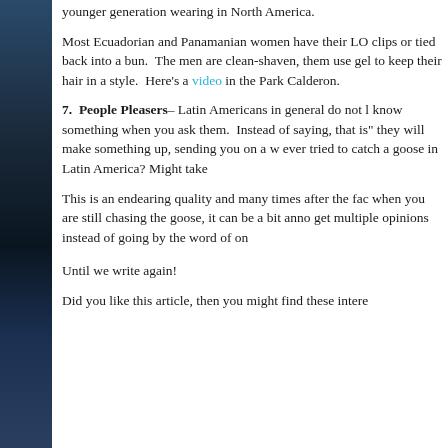younger generation wearing in North America.
Most Ecuadorian and Panamanian women have their LO clips or tied back into a bun. The men are clean-shaven, them use gel to keep their hair in a style. Here's a video in the Park Calderon.
7. People Pleasers– Latin Americans in general do not k know something when you ask them. Instead of saying, that is" they will make something up, sending you on a w ever tried to catch a goose in Latin America? Might take
This is an endearing quality and many times after the fac when you are still chasing the goose, it can be a bit anno get multiple opinions instead of going by the word of on
Until we write again!
Did you like this article, then you might find these intere